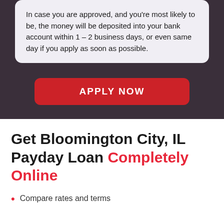In case you are approved, and you're most likely to be, the money will be deposited into your bank account within 1 – 2 business days, or even same day if you apply as soon as possible.
[Figure (other): Red 'APPLY NOW' button on dark purple background]
Get Bloomington City, IL Payday Loan Completely Online
Compare rates and terms